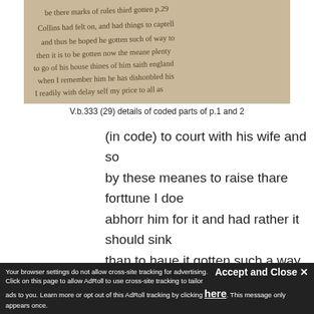[Figure (photo): Photograph of a handwritten manuscript page with cursive text in old English script, sepia/aged appearance]
V.b.333 (29) details of coded parts of p.1 and 2
(in code) to court with his wife and so by these meanes to raise thare forttune I doe abhorr him for it and had rather it should sink than to haue it gotten such a way as that. It is a sad world now, and meane people
Accept and Close ✕
Your browser settings do not allow cross-site tracking for advertising. Click on this page to allow AdRoll to use cross-site tracking to tailor ads to you. Learn more or opt out of this AdRoll tracking by clicking here. This message only appears once.